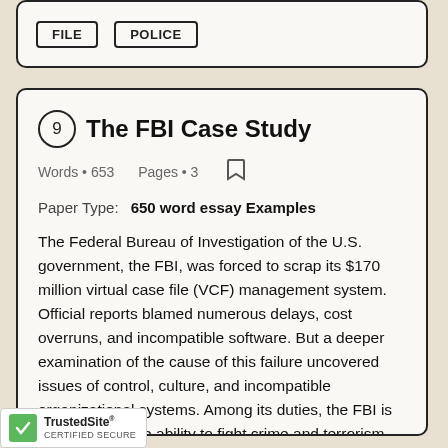[Figure (other): Partially visible card with two tag buttons labeled 'FILE' and 'POLICE']
9 The FBI Case Study
Words • 653    Pages • 3
Paper Type:    650 word essay Examples
The Federal Bureau of Investigation of the U.S. government, the FBI, was forced to scrap its $170 million virtual case file (VCF) management system. Official reports blamed numerous delays, cost overruns, and incompatible software. But a deeper examination of the cause of this failure uncovered issues of control, culture, and incompatible organizational systems. Among its duties, the FBI is charged with the ability to fight crime and terrorism. To